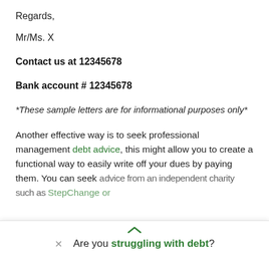Regards,
Mr/Ms. X
Contact us at 12345678
Bank account # 12345678
*These sample letters are for informational purposes only*
Another effective way is to seek professional management debt advice, this might allow you to create a functional way to easily write off your dues by paying them. You can seek advice from an independent charity such as StepChange or
Are you struggling with debt?